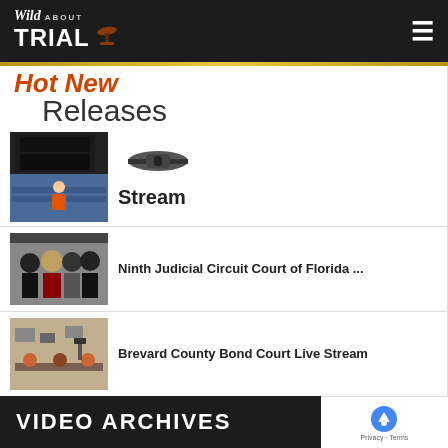Wild About Trial - header with logo and hamburger menu
Hot New Releases
[Figure (screenshot): PlayStation 4 console (black) stacked, with a person in orange jumpsuit in courtroom below]
[Figure (illustration): Microphone/audio equipment icon]
Stream
[Figure (photo): Group of people at a press conference or court hearing]
Ninth Judicial Circuit Court of Florida ...
[Figure (photo): Courtroom interior with cameras and people]
Brevard County Bond Court Live Stream
VIDEO ARCHIVES